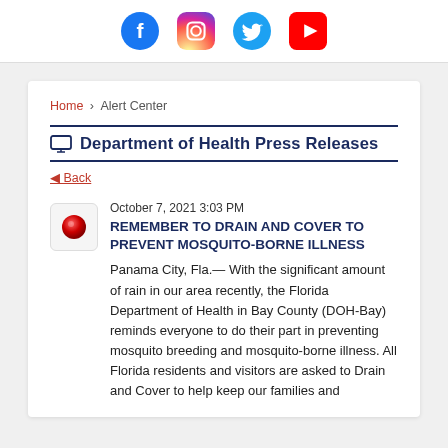[Figure (illustration): Social media icons: Facebook, Instagram, Twitter, YouTube]
Home › Alert Center
Department of Health Press Releases
◄ Back
October 7, 2021 3:03 PM
REMEMBER TO DRAIN AND COVER TO PREVENT MOSQUITO-BORNE ILLNESS
Panama City, Fla.— With the significant amount of rain in our area recently, the Florida Department of Health in Bay County (DOH-Bay) reminds everyone to do their part in preventing mosquito breeding and mosquito-borne illness. All Florida residents and visitors are asked to Drain and Cover to help keep our families and